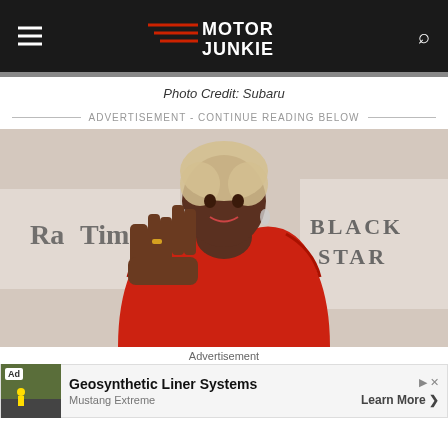Motor Junkie
Photo Credit: Subaru
ADVERTISEMENT - CONTINUE READING BELOW
[Figure (photo): An elderly Black woman in a red feathered outfit giving the Vulcan salute, photographed at a Radio Times / Black Star event backdrop. She has white/gray afro hair and large earrings.]
Advertisement
Ad  Geosynthetic Liner Systems  Mustang Extreme  Learn More